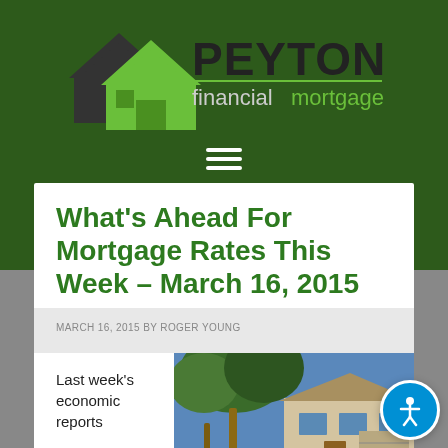[Figure (logo): Peyton Financial Mortgage logo with house icon in dark green and lime green, bold black 'PEYTON' text and green 'financial mortgage' text]
What's Ahead For Mortgage Rates This Week – March 16, 2015
MARCH 16, 2015 BY ROGER YOUNG
Last week's economic reports
[Figure (photo): Photo of a residential house with palm trees against a blue sky]